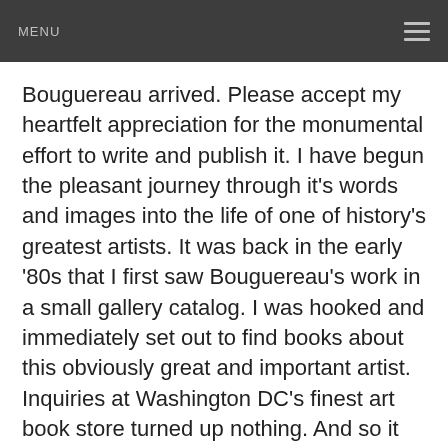MENU
Bouguereau arrived. Please accept my heartfelt appreciation for the monumental effort to write and publish it. I have begun the pleasant journey through it's words and images into the life of one of history's greatest artists. It was back in the early '80s that I first saw Bouguereau's work in a small gallery catalog. I was hooked and immediately set out to find books about this obviously great and important artist. Inquiries at Washington DC's finest art book store turned up nothing. And so it was for these many years. Save for Fronia Wissman's 1996 monograph, Bouguereau seemed nonexistent in the world of art history ... until now. Your publication is brilliantly conceived. It's beautiful design and quality invite display equal to any valuable work of art. How